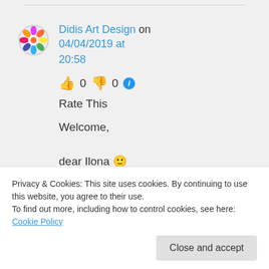[Figure (other): A rainbow/colorful mandala avatar icon for Didis Art Design commenter]
Didis Art Design on 04/04/2019 at 20:58
👍 0 👎 0 ℹ Rate This
Welcome, dear Ilona 🙂
Privacy & Cookies: This site uses cookies. By continuing to use this website, you agree to their use. To find out more, including how to control cookies, see here: Cookie Policy
Close and accept
is mixed with